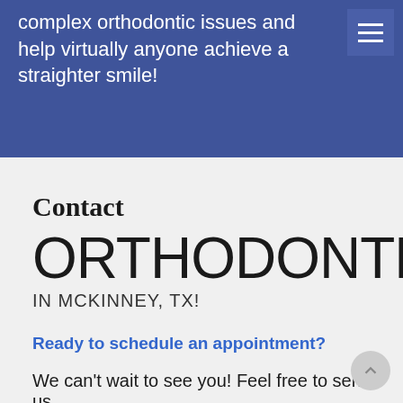complex orthodontic issues and help virtually anyone achieve a straighter smile!
[Figure (screenshot): Blue hero section with hamburger menu icon in top right corner and partial dental/orthodontic image visible]
Contact
ORTHODONTEX
IN MCKINNEY, TX!
Ready to schedule an appointment?
We can't wait to see you! Feel free to send us